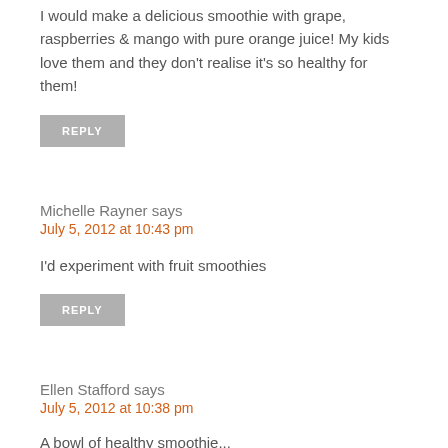I would make a delicious smoothie with grape, raspberries & mango with pure orange juice! My kids love them and they don't realise it's so healthy for them!
REPLY
Michelle Rayner says
July 5, 2012 at 10:43 pm
I'd experiment with fruit smoothies
REPLY
Ellen Stafford says
July 5, 2012 at 10:38 pm
A bowl of healthy smoothie...